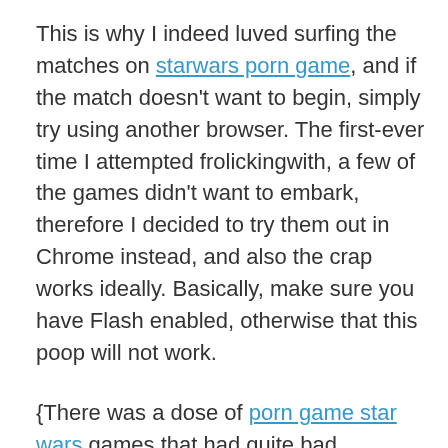This is why I indeed luved surfing the matches on starwars porn game, and if the match doesn't want to begin, simply try using another browser. The first-ever time I attempted frolickingwith, a few of the games didn't want to embark, therefore I decided to try them out in Chrome instead, and also the crap works ideally. Basically, make sure you have Flash enabled, otherwise that this poop will not work.
{There was a dose of porn game star wars games that had quite bad cartoons, but that is to be hoped as some of those games were created by devotees, and not everyone knows how to draw. But, there were plenty of matches with supreme, as well as realistic cartoons, I fuckin' liked. | I like to observe anime pornography instead, but I did find a poop ton of ashoka tano porn game games that I truly penetrating loved frolicking, which should tell you a slew of.